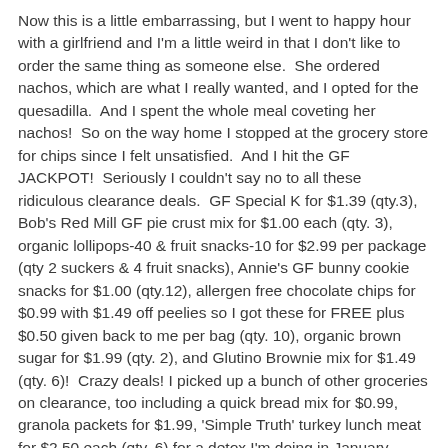Now this is a little embarrassing, but I went to happy hour with a girlfriend and I'm a little weird in that I don't like to order the same thing as someone else.  She ordered nachos, which are what I really wanted, and I opted for the quesadilla.  And I spent the whole meal coveting her nachos!  So on the way home I stopped at the grocery store for chips since I felt unsatisfied.  And I hit the GF JACKPOT!  Seriously I couldn't say no to all these ridiculous clearance deals.  GF Special K for $1.39 (qty.3), Bob's Red Mill GF pie crust mix for $1.00 each (qty. 3), organic lollipops-40 & fruit snacks-10 for $2.99 per package (qty 2 suckers & 4 fruit snacks), Annie's GF bunny cookie snacks for $1.00 (qty.12), allergen free chocolate chips for $0.99 with $1.49 off peelies so I got these for FREE plus $0.50 given back to me per bag (qty. 10), organic brown sugar for $1.99 (qty. 2), and Glutino Brownie mix for $1.49 (qty. 6)!  Crazy deals! I picked up a bunch of other groceries on clearance, too including a quick bread mix for $0.99, granola packets for $1.99, 'Simple Truth' turkey lunch meat for $2.50 each (qty. 6) for a detox I'm doing in January, hummus & pico de gallo, and pomegranates for $.50 each!  Oh, and those Doritos I went into the store for in the first place, I bought on clearance, too.